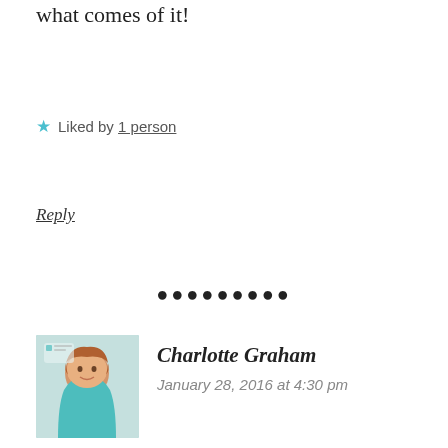what comes of it!
Liked by 1 person
Reply
••••••••
Charlotte Graham
January 28, 2016 at 4:30 pm
[Figure (photo): Avatar/profile photo of Charlotte Graham, a woman with red/auburn hair smiling, wearing a teal/turquoise top, photographed indoors]
You are absolutely not alone in loathing selfies and the sadly ubiquitous narcissist sticks. I find the whole phenomenon of taking hundreds of selfies